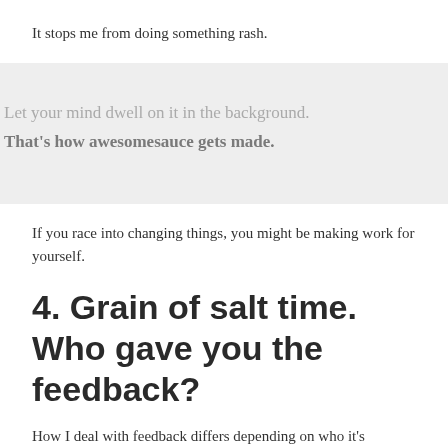It stops me from doing something rash.
Let your mind dwell on it in the background. That's how awesomesauce gets made.
If you race into changing things, you might be making work for yourself.
4. Grain of salt time. Who gave you the feedback?
How I deal with feedback differs depending on who it's